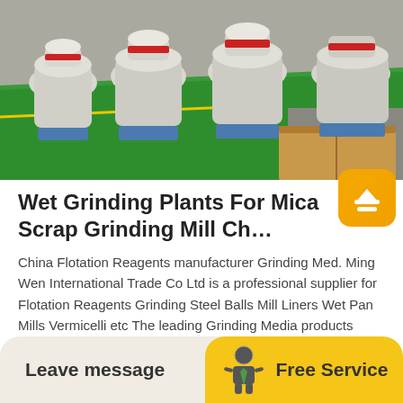[Figure (photo): Industrial grinding mill machines in a factory with green floor and wooden crates]
Wet Grinding Plants For Mica Scrap Grinding Mill Ch...
China Flotation Reagents manufacturer Grinding Med. Ming Wen International Trade Co Ltd is a professional supplier for Flotation Reagents Grinding Steel Balls Mill Liners Wet Pan Mills Vermicelli etc The leading Grinding Media products include Casting Steel Balls Forge…
READ MORE
Leave message
Free Service